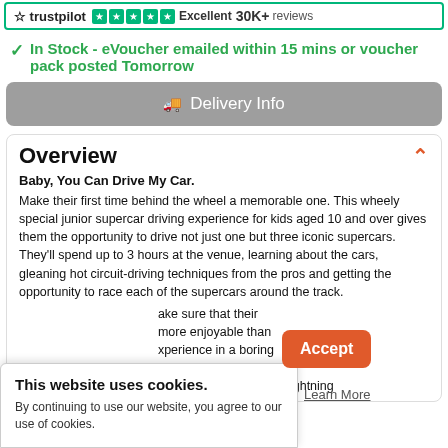[Figure (logo): Trustpilot logo with star ratings showing Excellent and 30K+ reviews]
✔  In Stock - eVoucher emailed within 15 mins or voucher pack posted Tomorrow
🚚 Delivery Info
Overview
Baby, You Can Drive My Car.
Make their first time behind the wheel a memorable one. This wheely special junior supercar driving experience for kids aged 10 and over gives them the opportunity to drive not just one but three iconic supercars. They'll spend up to 3 hours at the venue, learning about the cars, gleaning hot circuit-driving techniques from the pros and getting the opportunity to race each of the supercars around the track.
...ake sure that their ...more enjoyable than ...xperience in a boring ...heir faces when they find themselves in control of a Mazda MX5 (the Lightning
This website uses cookies. By continuing to use our website, you agree to our use of cookies.
Accept
Learn More